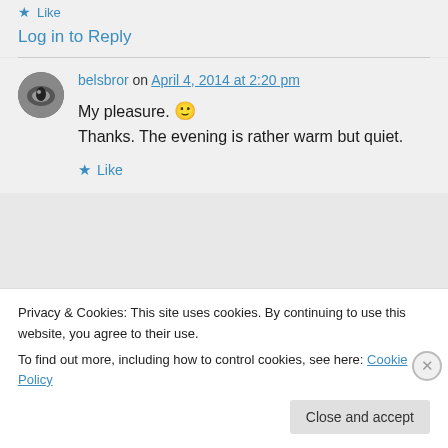★ Like
Log in to Reply
belsbror on April 4, 2014 at 2:20 pm
My pleasure. 🙂
Thanks. The evening is rather warm but quiet.
★ Like
Privacy & Cookies: This site uses cookies. By continuing to use this website, you agree to their use.
To find out more, including how to control cookies, see here: Cookie Policy
Close and accept